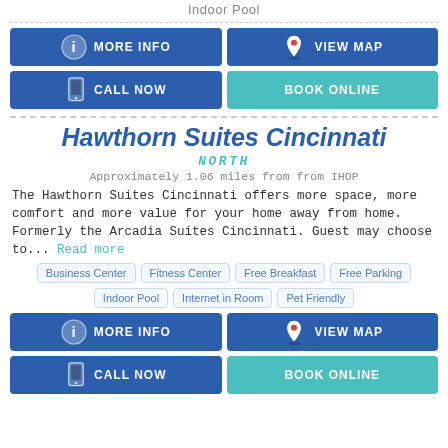Indoor Pool
MORE INFO
VIEW MAP
CALL NOW
BOOK ONLINE
Hawthorn Suites Cincinnati
NORTH
Approximately 1.06 miles from from IHOP
The Hawthorn Suites Cincinnati offers more space, more comfort and more value for your home away from home. Formerly the Arcadia Suites Cincinnati. Guest may choose to... Read more
Business Center
Fitness Center
Free Breakfast
Free Parking
Indoor Pool
Internet in Room
Pet Friendly
MORE INFO
VIEW MAP
CALL NOW
BOOK ONLINE